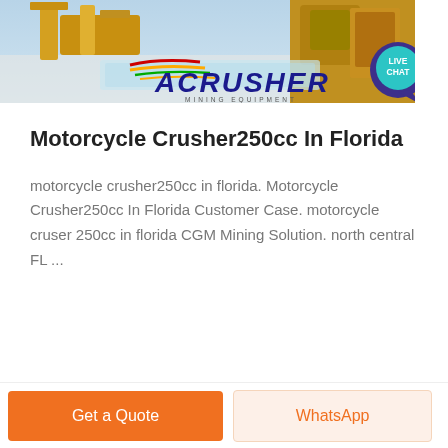[Figure (photo): ACrusher Mining Equipment banner image showing yellow industrial mining machinery in the background with the ACRUSHER logo in bold dark blue italic letters, colored stripe logo marks (red, yellow, green), and 'MINING EQUIPMENT' subtitle text. A 'LIVE CHAT' speech bubble appears in the top right corner in teal/dark purple.]
Motorcycle Crusher250cc In Florida
motorcycle crusher250cc in florida. Motorcycle Crusher250cc In Florida Customer Case. motorcycle cruser 250cc in florida CGM Mining Solution. north central FL ...
Get a Quote
WhatsApp